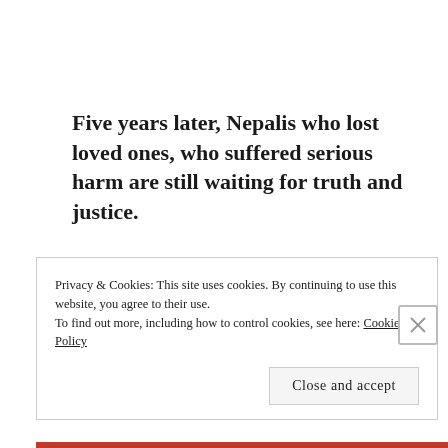Five years later, Nepalis who lost loved ones, who suffered serious harm are still waiting for truth and justice.
End/
Privacy & Cookies: This site uses cookies. By continuing to use this website, you agree to their use.
To find out more, including how to control cookies, see here: Cookie Policy